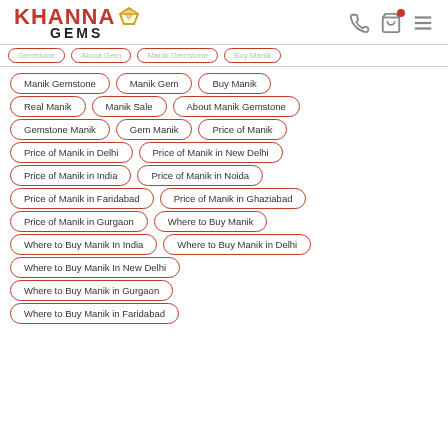[Figure (logo): Khanna Gems logo with red text and gold diamond icon]
Manik Gemstone
Manik Gem
Buy Manik
Real Manik
Manik Sale
About Manik Gemstone
Gemstone Manik
Gem Manik
Price of Manik
Price of Manik in Delhi
Price of Manik in New Delhi
Price of Manik in India
Price of Manik in Noida
Price of Manik in Faridabad
Price of Manik in Ghaziabad
Price of Manik in Gurgaon
Where to Buy Manik
Where to Buy Manik In India
Where to Buy Manik in Delhi
Where to Buy Manik In New Delhi
Where to Buy Manik in Gurgaon
Where to Buy Manik in Faridabad